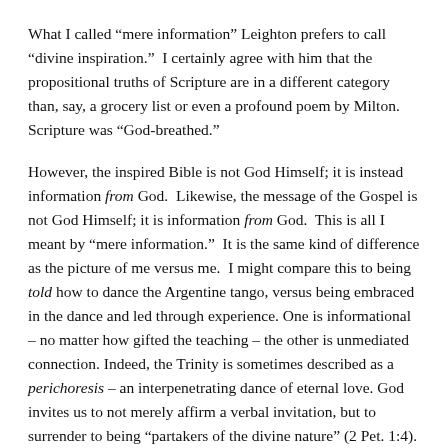What I called “mere information” Leighton prefers to call “divine inspiration.”  I certainly agree with him that the propositional truths of Scripture are in a different category than, say, a grocery list or even a profound poem by Milton. Scripture was “God-breathed.”
However, the inspired Bible is not God Himself; it is instead information from God.  Likewise, the message of the Gospel is not God Himself; it is information from God.  This is all I meant by “mere information.”  It is the same kind of difference as the picture of me versus me.  I might compare this to being told how to dance the Argentine tango, versus being embraced in the dance and led through experience. One is informational – no matter how gifted the teaching – the other is unmediated connection. Indeed, the Trinity is sometimes described as a perichoresis – an interpenetrating dance of eternal love. God invites us to not merely affirm a verbal invitation, but to surrender to being “partakers of the divine nature” (2 Pet. 1:4). I believe Leighton would affirm this distinction.
In practical terms of response-ability, I agree that the message